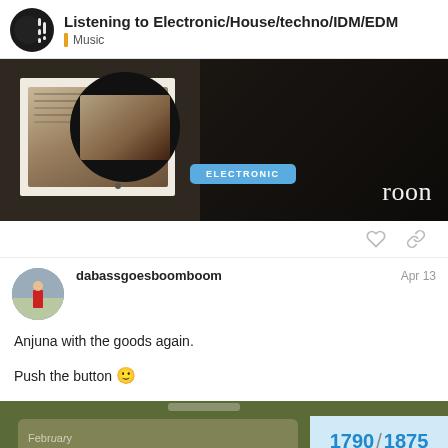Listening to Electronic/House/techno/IDM/EDM — Music
[Figure (screenshot): Roon music player interface showing a dark background with a vinyl record/mixer image on the left, an ELECTRONIC genre badge in the center, and the 'roon' logo in the bottom right.]
dabassgoesboom boom  Apr 13
Anjuna with the goods again.
Push the button 🙂
[Figure (screenshot): Bottom portion of a music app interface with an olive/green background, a light-colored card, and a counter badge showing 1790 / 1875 in blue text on a light blue background.]